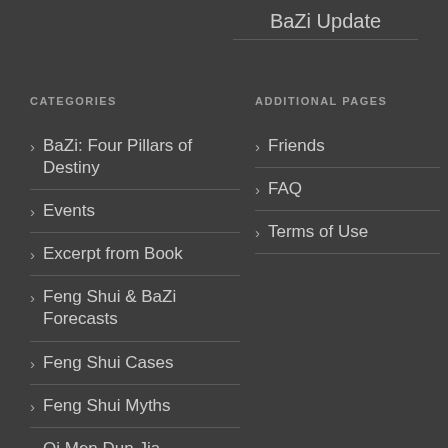BaZi Update
CATEGORIES
BaZi: Four Pillars of Destiny
Events
Excerpt from Book
Feng Shui & BaZi Forecasts
Feng Shui Cases
Feng Shui Myths
Qi Men Dun Jia
ADDITIONAL PAGES
Friends
FAQ
Terms of Use